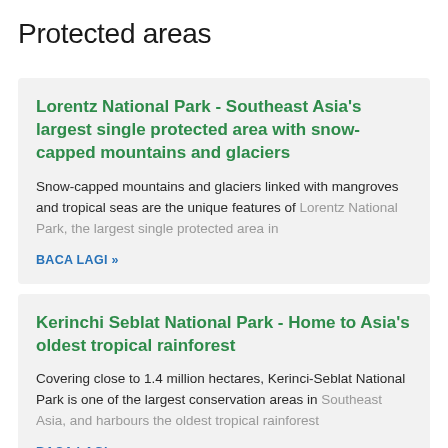Protected areas
Lorentz National Park - Southeast Asia's largest single protected area with snow-capped mountains and glaciers
Snow-capped mountains and glaciers linked with mangroves and tropical seas are the unique features of Lorentz National Park, the largest single protected area in
BACA LAGI »
Kerinchi Seblat National Park - Home to Asia's oldest tropical rainforest
Covering close to 1.4 million hectares, Kerinci-Seblat National Park is one of the largest conservation areas in Southeast Asia, and harbours the oldest tropical rainforest
BACA LAGI »